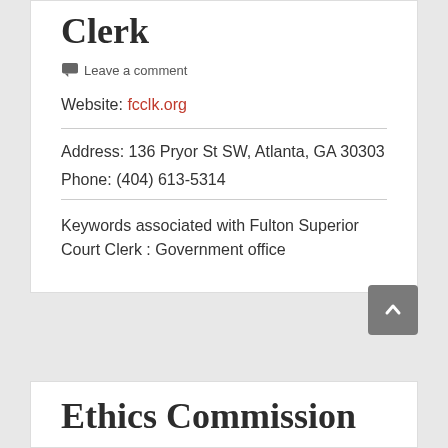Clerk
Leave a comment
Website: fcclk.org
Address: 136 Pryor St SW, Atlanta, GA 30303
Phone: (404) 613-5314
Keywords associated with Fulton Superior Court Clerk : Government office
Ethics Commission